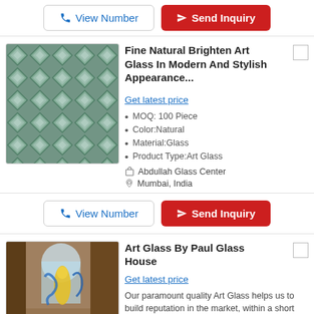[Figure (other): Buttons: phone icon View Number (outlined) and Send Inquiry (red)]
[Figure (photo): Photo of decorative geometric mirrored glass tile pattern in teal/silver tones]
Fine Natural Brighten Art Glass In Modern And Stylish Appearance...
Get latest price
MOQ: 100 Piece
Color:Natural
Material:Glass
Product Type:Art Glass
Abdullah Glass Center
Mumbai, India
[Figure (other): Buttons: phone icon View Number (outlined) and Send Inquiry (red)]
[Figure (photo): Photo of decorative stained art glass panel with figure in yellow and blue swirls, classical interior]
Art Glass By Paul Glass House
Get latest price
Our paramount quality Art Glass helps us to build reputation in the market, within a short span of time. Offered glass is used for adding grace to interiors and exteriors of